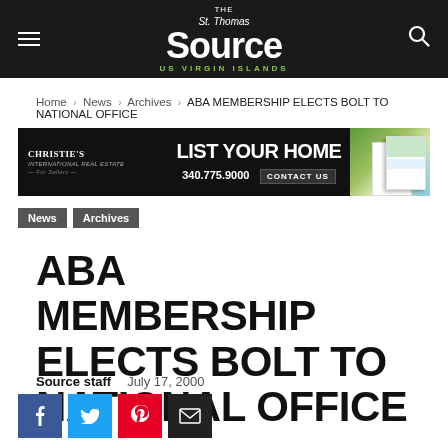The St. Thomas Source — US Virgin Islands
Home › News › Archives › ABA MEMBERSHIP ELECTS BOLT TO NATIONAL OFFICE
[Figure (other): Christie's International Real Estate advertisement: LIST YOUR HOME — 340.775.9000 CONTACT US]
News
Archives
ABA MEMBERSHIP ELECTS BOLT TO NATIONAL OFFICE
Source staff   July 17, 2000
[Figure (other): Social sharing buttons: Facebook, Twitter, Pinterest, Email]